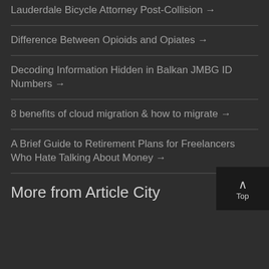Lauderdale Bicycle Attorney Post-Collision →
Difference Between Opioids and Opiates →
Decoding Information Hidden in Balkan JMBG ID Numbers →
8 benefits of cloud migration & how to migrate →
A Brief Guide to Retirement Plans for Freelancers Who Hate Talking About Money →
More from Article City